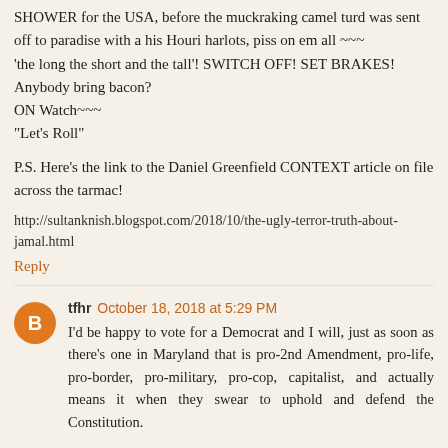SHOWER for the USA, before the muckraking camel turd was sent off to paradise with a his Houri harlots, piss on em all ~~~ 'the long the short and the tall'! SWITCH OFF! SET BRAKES! Anybody bring bacon?
ON Watch~~~
"Let's Roll"
P.S. Here's the link to the Daniel Greenfield CONTEXT article on file across the tarmac!
http://sultanknish.blogspot.com/2018/10/the-ugly-terror-truth-about-jamal.html
Reply
tfhr  October 18, 2018 at 5:29 PM
I'd be happy to vote for a Democrat and I will, just as soon as there's one in Maryland that is pro-2nd Amendment, pro-life, pro-border, pro-military, pro-cop, capitalist, and actually means it when they swear to uphold and defend the Constitution.